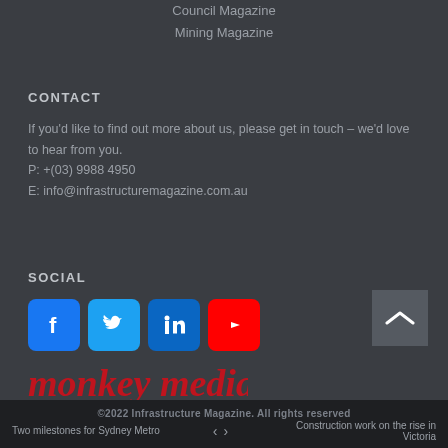Council Magazine
Mining Magazine
CONTACT
If you'd like to find out more about us, please get in touch – we'd love to hear from you.
P: +(03) 9988 4950
E: info@infrastructuremagazine.com.au
SOCIAL
[Figure (logo): Social media icons: Facebook (blue), Twitter (light blue), LinkedIn (dark blue), YouTube (red)]
[Figure (logo): Monkey Media logo in red cursive text with decorative swirl]
©2022 Infrastructure Magazine. All rights reserved
Two milestones for Sydney Metro   <   >   Construction work on the rise in Victoria